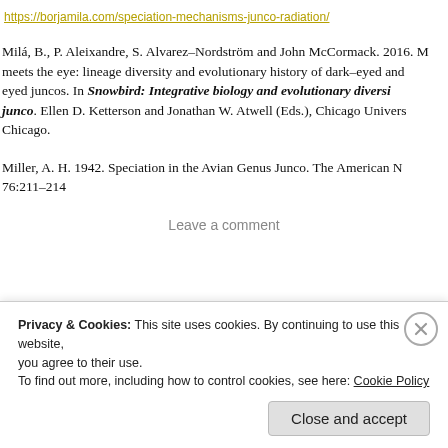https://borjamila.com/speciation-mechanisms-junco-radiation/
Milá, B., P. Aleixandre, S. Alvarez-Nordström and John McCormack. 2016. M meets the eye: lineage diversity and evolutionary history of dark-eyed and eyed juncos. In Snowbird: Integrative biology and evolutionary diversi junco. Ellen D. Ketterson and Jonathan W. Atwell (Eds.), Chicago Univers Chicago.
Miller, A. H. 1942. Speciation in the Avian Genus Junco. The American N 76:211-214
Leave a comment
Privacy & Cookies: This site uses cookies. By continuing to use this website, you agree to their use. To find out more, including how to control cookies, see here: Cookie Policy
Close and accept